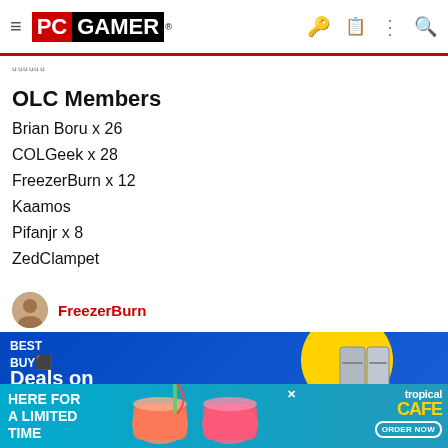PC GAMER
ᵤᵤᵤᵤᵤᵤ
OLC Members
Brian Boru x 26
COLGeek x 28
FreezerBurn x 12
Kaamos
Pifanjr x 8
ZedClampet
FreezerBurn
[Figure (photo): Best Buy advertisement - Deals on the tech, showing a refrigerator]
[Figure (photo): Tropical Smoothie Cafe advertisement - Here for a limited time, Order Now]